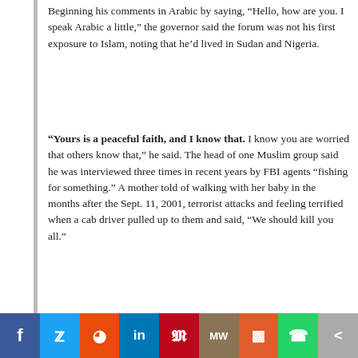Beginning his comments in Arabic by saying, “Hello, how are you. I speak Arabic a little,” the governor said the forum was not his first exposure to Islam, noting that he’d lived in Sudan and Nigeria.
“Yours is a peaceful faith, and I know that. I know you are worried that others know that,” he said. The head of one Muslim group said he was interviewed three times in recent years by FBI agents “fishing for something.” A mother told of walking with her baby in the months after the Sept. 11, 2001, terrorist attacks and feeling terrified when a cab driver pulled up to them and said, “We should kill you all.”
“We are here for power and for recognition,” said Bilal Kaleem, president of the Muslim American Society of Boston. “We’re against extremism and terror.”
Governor, you are either being politically correct, or are ignorant on Islam. Like Obama, I openly challenge you to a debate on Islam. I doubt you want that though…
Link to Article